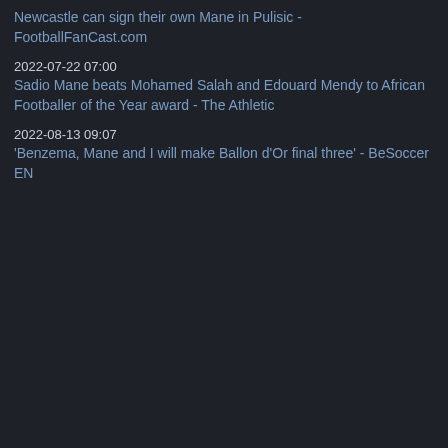Newcastle can sign their own Mane in Pulisic - FootballFanCast.com
2022-07-22 07:00
Sadio Mane beats Mohamed Salah and Edouard Mendy to African Footballer of the Year award - The Athletic
2022-08-13 09:07
'Benzema, Mane and I will make Ballon d'Or final three' - BeSoccer EN